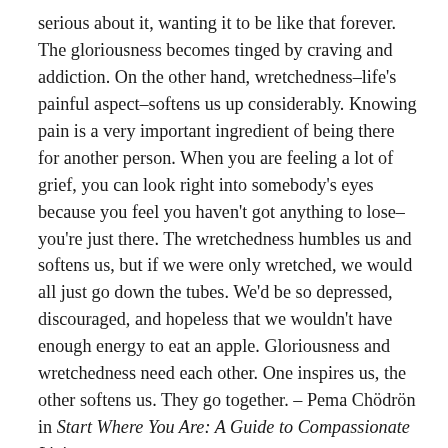serious about it, wanting it to be like that forever. The gloriousness becomes tinged by craving and addiction. On the other hand, wretchedness–life's painful aspect–softens us up considerably. Knowing pain is a very important ingredient of being there for another person. When you are feeling a lot of grief, you can look right into somebody's eyes because you feel you haven't got anything to lose–you're just there. The wretchedness humbles us and softens us, but if we were only wretched, we would all just go down the tubes. We'd be so depressed, discouraged, and hopeless that we wouldn't have enough energy to eat an apple. Gloriousness and wretchedness need each other. One inspires us, the other softens us. They go together. – Pema Chödrön in Start Where You Are: A Guide to Compassionate Living